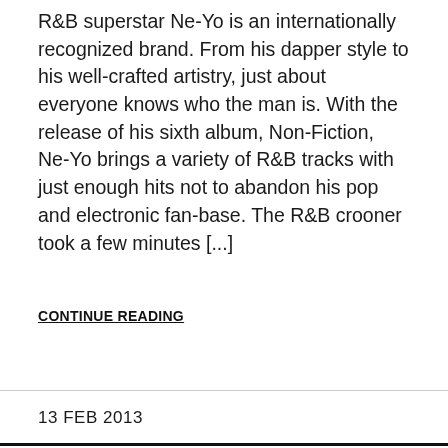R&B superstar Ne-Yo is an internationally recognized brand. From his dapper style to his well-crafted artistry, just about everyone knows who the man is. With the release of his sixth album, Non-Fiction, Ne-Yo brings a variety of R&B tracks with just enough hits not to abandon his pop and electronic fan-base. The R&B crooner took a few minutes [...]
CONTINUE READING
13 FEB 2013